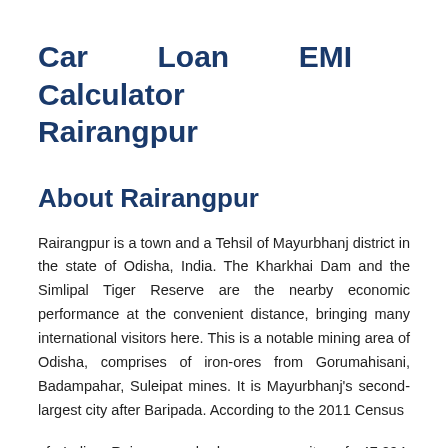Car Loan EMI Calculator Rairangpur
About Rairangpur
Rairangpur is a town and a Tehsil of Mayurbhanj district in the state of Odisha, India. The Kharkhai Dam and the Simlipal Tiger Reserve are the nearby economic performance at the convenient distance, bringing many international visitors here. This is a notable mining area of Odisha, comprises of iron-ores from Gorumahisani, Badampahar, Suleipat mines. It is Mayurbhanj's second-largest city after Baripada. According to the 2011 Census
of India, Rairangpur had a community of 47,294. Rairangpur has an average literacy rate of 72%, higher than the national average